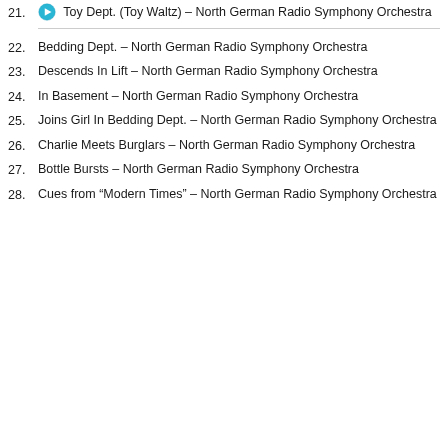21. Toy Dept. (Toy Waltz) – North German Radio Symphony Orchestra
22. Bedding Dept. – North German Radio Symphony Orchestra
23. Descends In Lift – North German Radio Symphony Orchestra
24. In Basement – North German Radio Symphony Orchestra
25. Joins Girl In Bedding Dept. – North German Radio Symphony Orchestra
26. Charlie Meets Burglars – North German Radio Symphony Orchestra
27. Bottle Bursts – North German Radio Symphony Orchestra
28. Cues from “Modern Times” – North German Radio Symphony Orchestra